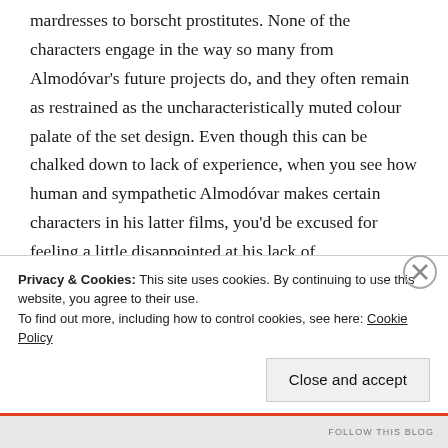mardresses to borscht prostitutes. None of the characters engage in the way so many from Almodóvar's future projects do, and they often remain as restrained as the uncharacteristically muted colour palate of the set design. Even though this can be chalked down to lack of experience, when you see how human and sympathetic Almodóvar makes certain characters in his latter films, you'd be excused for feeling a little disappointed at his lack of adventurousness here.

Dark Habits may be, at times, be clunky, flat and too restrained for its own good, but it does
Privacy & Cookies: This site uses cookies. By continuing to use this website, you agree to their use.
To find out more, including how to control cookies, see here: Cookie Policy
Close and accept